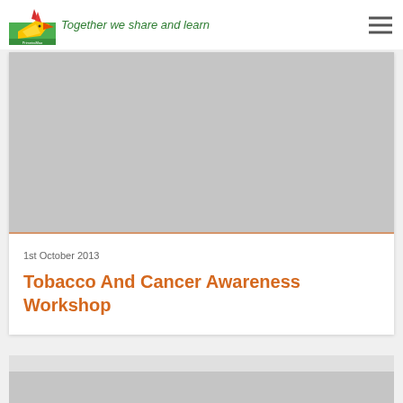Together we share and learn
[Figure (photo): Grey placeholder image for article thumbnail]
1st October 2013
Tobacco And Cancer Awareness Workshop
[Figure (photo): Grey placeholder image for second article thumbnail (partially visible at bottom)]